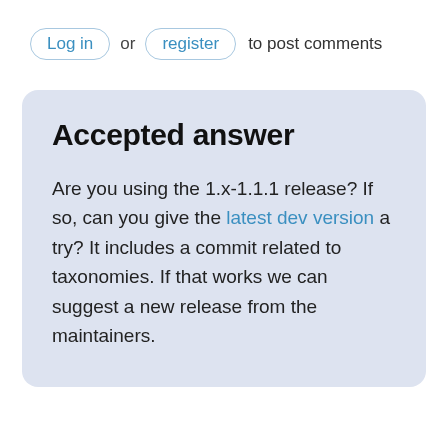Log in or register to post comments
Accepted answer
Are you using the 1.x-1.1.1 release? If so, can you give the latest dev version a try? It includes a commit related to taxonomies. If that works we can suggest a new release from the maintainers.